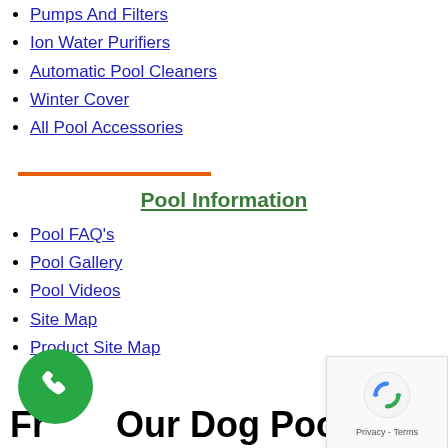Pumps And Filters
Ion Water Purifiers
Automatic Pool Cleaners
Winter Cover
All Pool Accessories
Pool Information
Pool FAQ's
Pool Gallery
Pool Videos
Site Map
Product Site Map
From Our Dog Pool Blog
[Figure (logo): reCAPTCHA logo with Privacy - Terms text]